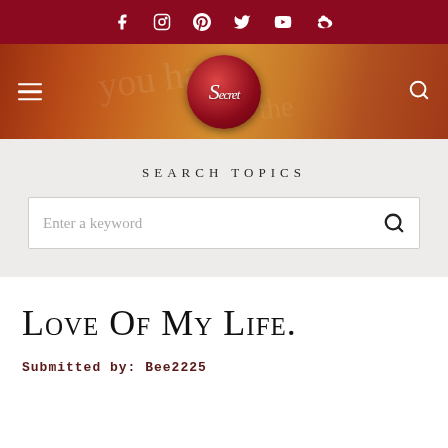[Figure (screenshot): Top social media bar with icons for Facebook, Instagram, Pinterest, Twitter, YouTube, and Weibo on dark red background]
[Figure (logo): The Secret website header banner with logo circle containing cursive S, hamburger menu icon on left, search icon on right, on orange-brown textured background]
Search Topics
[Figure (screenshot): Search input box with placeholder text 'Enter a keyword' and search icon]
Love Of My Life.
Submitted by: Bee2225